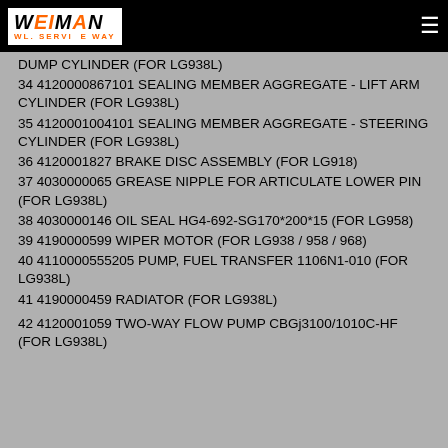WEIMAN WL. SERVICE WAY
DUMP CYLINDER (FOR LG938L)
34 4120000867101 SEALING MEMBER AGGREGATE - LIFT ARM CYLINDER (FOR LG938L)
35 4120001004101 SEALING MEMBER AGGREGATE - STEERING CYLINDER (FOR LG938L)
36 4120001827 BRAKE DISC ASSEMBLY (FOR LG918)
37 4030000065 GREASE NIPPLE FOR ARTICULATE LOWER PIN (FOR LG938L)
38 4030000146 OIL SEAL HG4-692-SG170*200*15 (FOR LG958)
39 4190000599 WIPER MOTOR (FOR LG938 / 958 / 968)
40 4110000555205 PUMP, FUEL TRANSFER 1106N1-010 (FOR LG938L)
41 4190000459 RADIATOR (FOR LG938L)
42 4120001059 TWO-WAY FLOW PUMP CBGj3100/1010C-HF (FOR LG938L)